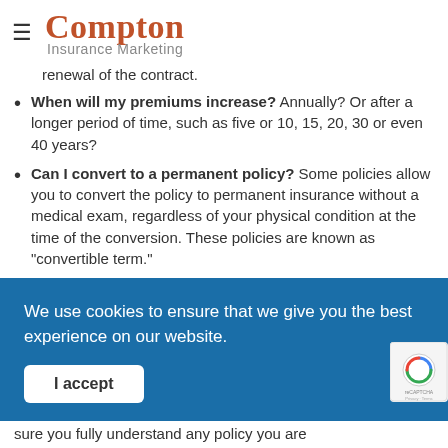Compton Insurance Marketing
renewal of the contract.
When will my premiums increase? Annually? Or after a longer period of time, such as five or 10, 15, 20, 30 or even 40 years?
Can I convert to a permanent policy? Some policies allow you to convert the policy to permanent insurance without a medical exam, regardless of your physical condition at the time of the conversion. These policies are known as "convertible term."
We use cookies to ensure that we give you the best experience on our website.
I accept
sure you fully understand any policy you are